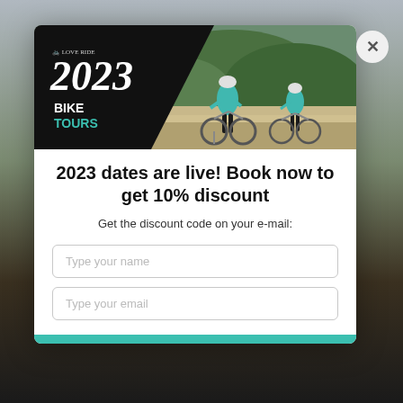[Figure (photo): Hero banner image for Love Ride 2023 Bike Tours showing two cyclists in teal jerseys standing with road bikes on a scenic overlook with green forested hills in the background. Left half has a black diagonal overlay with the Love Ride logo, '2023' in large script, and 'BIKE TOURS' text (TOURS in teal).]
2023 dates are live! Book now to get 10% discount
Get the discount code on your e-mail: